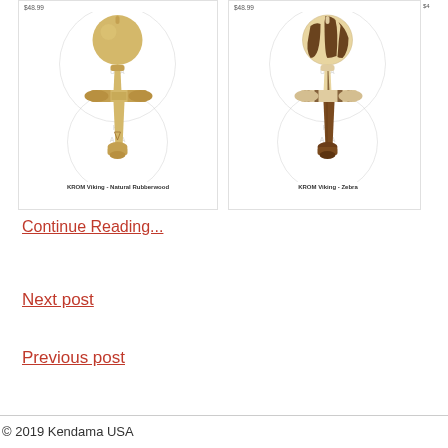[Figure (photo): KROM Viking - Natural Rubberwood kendama toy product image with watermark, price $48.99]
KROM Viking - Natural Rubberwood
[Figure (photo): KROM Viking - Zebra kendama toy product image with watermark, price $48.99]
KROM Viking - Zebra
Continue Reading...
Next post
Previous post
© 2019 Kendama USA